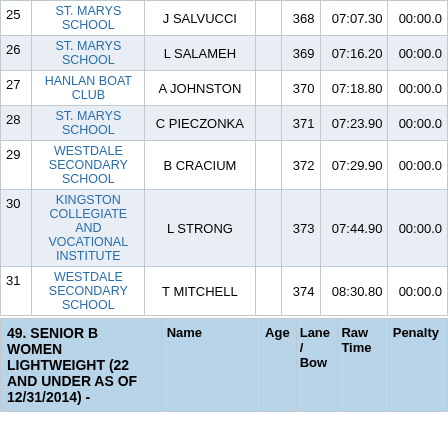|  | School | Name | Age | Lane / Bow | Raw Time | Penalty |
| --- | --- | --- | --- | --- | --- | --- |
| 25 | ST. MARYS SCHOOL | J SALVUCCI |  | 368 | 07:07.30 | 00:00.0 |
| 26 | ST. MARYS SCHOOL | L SALAMEH |  | 369 | 07:16.20 | 00:00.0 |
| 27 | HANLAN BOAT CLUB | A JOHNSTON |  | 370 | 07:18.80 | 00:00.0 |
| 28 | ST. MARYS SCHOOL | C PIECZONKA |  | 371 | 07:23.90 | 00:00.0 |
| 29 | WESTDALE SECONDARY SCHOOL | B CRACIUM |  | 372 | 07:29.90 | 00:00.0 |
| 30 | KINGSTON COLLEGIATE AND VOCATIONAL INSTITUTE | L STRONG |  | 373 | 07:44.90 | 00:00.0 |
| 31 | WESTDALE SECONDARY SCHOOL | T MITCHELL |  | 374 | 08:30.80 | 00:00.0 |
| 49. SENIOR B WOMEN LIGHTWEIGHT (22 AND UNDER AS OF 12/31/2014) - | Name | Age | Lane / Bow | Raw Time | Penalty |
| --- | --- | --- | --- | --- | --- |